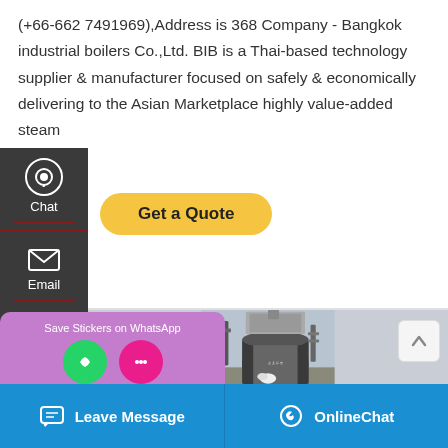(+66-662 7491969),Address is 368 Company - Bangkok industrial boilers Co.,Ltd. BIB is a Thai-based technology supplier & manufacturer focused on safely & economically delivering to the Asian Marketplace highly value-added steam
[Figure (screenshot): Sidebar with Chat, Email, and Contact icons on dark background. Get a Quote yellow button. Industrial boiler photo. WhatsApp sticker popup. Scroll-up button. Bottom bar with Leave Message and OnlineChat.]